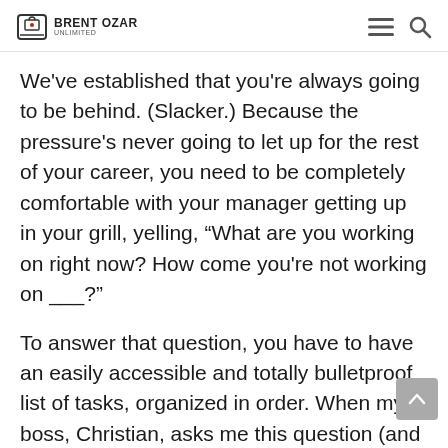BRENT OZAR UNLIMITED
We've established that you're always going to be behind.  (Slacker.)  Because the pressure's never going to let up for the rest of your career, you need to be completely comfortable with your manager getting up in your grill, yelling, “What are you working on right now?  How come you're not working on ___?”
To answer that question, you have to have an easily accessible and totally bulletproof list of tasks, organized in order.  When my boss, Christian, asks me this question (and he does, regularly) I can open up my task list on RememberTheMilk.com and tell him the top three things in my priority list.  At that